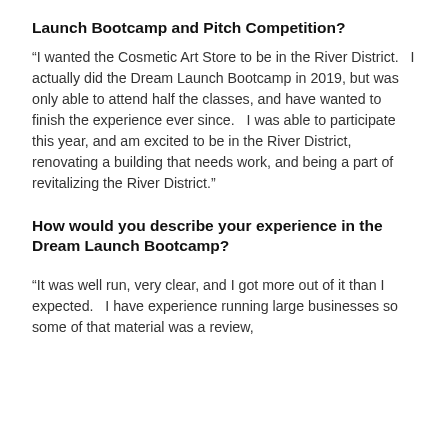Launch Bootcamp and Pitch Competition?
“I wanted the Cosmetic Art Store to be in the River District.   I actually did the Dream Launch Bootcamp in 2019, but was only able to attend half the classes, and have wanted to finish the experience ever since.   I was able to participate this year, and am excited to be in the River District, renovating a building that needs work, and being a part of revitalizing the River District.”
How would you describe your experience in the Dream Launch Bootcamp?
“It was well run, very clear, and I got more out of it than I expected.   I have experience running large businesses so some of that material was a review,